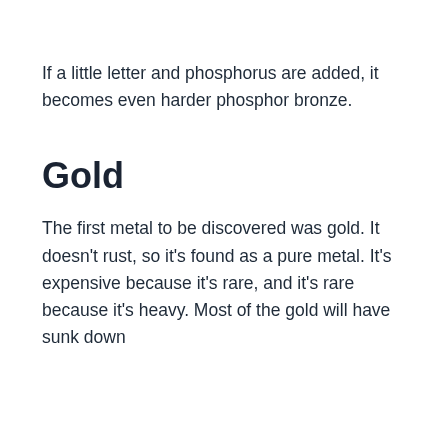If a little letter and phosphorus are added, it becomes even harder phosphor bronze.
Gold
The first metal to be discovered was gold. It doesn't rust, so it's found as a pure metal. It's expensive because it's rare, and it's rare because it's heavy. Most of the gold will have sunk down